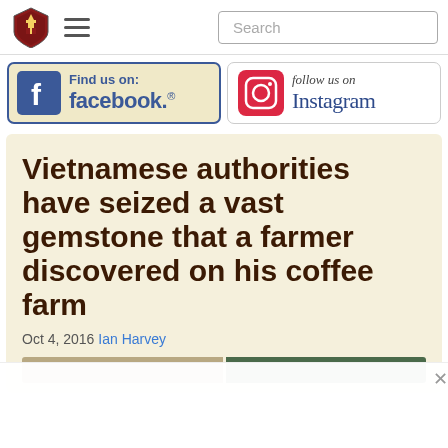Navigation bar with logo, menu icon, and Search field
[Figure (logo): Facebook Find us on: facebook. banner with blue border on cream background]
[Figure (logo): Instagram follow us on Instagram banner with camera icon]
Vietnamese authorities have seized a vast gemstone that a farmer discovered on his coffee farm
Oct 4, 2016 Ian Harvey